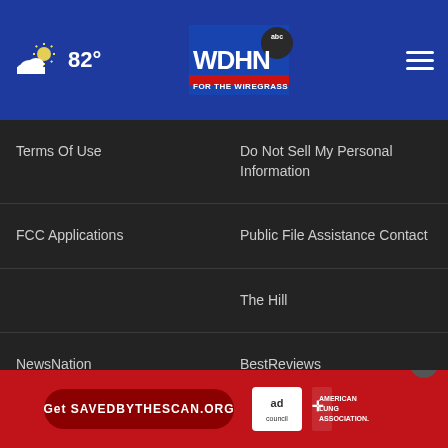WDHN ABC - FOR THE WIREGRASS | 82°
Terms Of Use
Do Not Sell My Personal Information
FCC Applications
Public File Assistance Contact
The Hill
NewsNation
BestReviews
Content Licensing
Nexstar Digital
© 1998 - 2022 Nexstar Media Inc. | All Rights Reserved.
[Figure (infographic): Ad banner: Get SAVEDBYTHESCAN.ORG - American Lung Association ad council advertisement on red background]